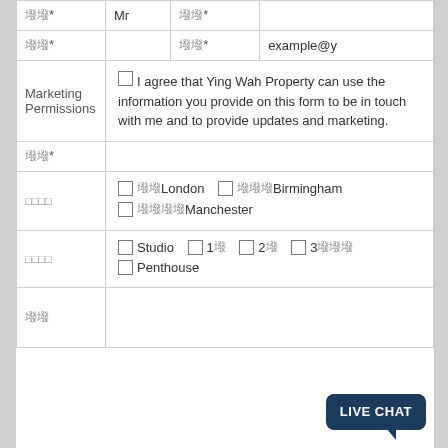| [garbled]* | Mr | [garbled]* |  |
| [garbled]* |  | [garbled]* | example@y |
| Marketing Permissions | ☐ I agree that Ying Wah Property can use the information you provide on this form to be in touch with me and to provide updates and marketing. |
| [garbled]* |  |
| [garbled] | ☐ [garbled] London  ☐ [garbled] Birmingham  ☐ [garbled] Manchester |
| [garbled] | ☐ Studio  ☐ 1[garbled]  ☐ 2[garbled]  ☐ 3[garbled]  ☐ Penthouse |
| [garbled] |  |